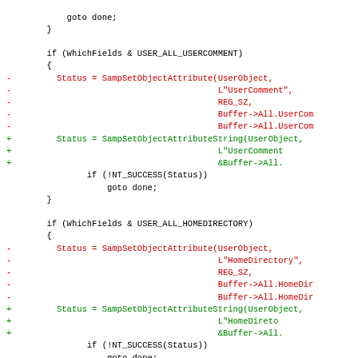Code diff showing changes to SampSetObjectAttribute calls replaced with SampSetObjectAttributeString calls for UserComment and HomeDirectory fields.